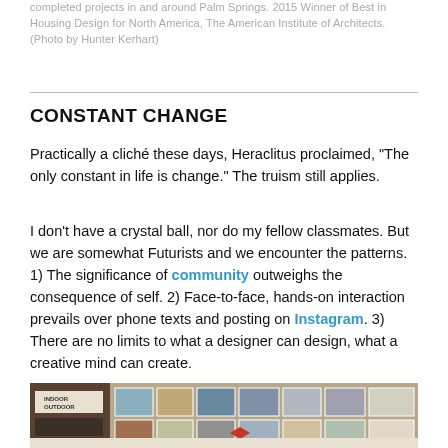completed projects in and around Palm Springs. 2015 Winner of Best in Housing Design for North America, The American Institute of Architects. (Photo by Hunter Kerhart)
CONSTANT CHANGE
Practically a cliché these days, Heraclitus proclaimed, “The only constant in life is change.” The truism still applies.
I don’t have a crystal ball, nor do my fellow classmates. But we are somewhat Futurists and we encounter the patterns. 1) The significance of community outweighs the consequence of self. 2) Face-to-face, hands-on interaction prevails over phone texts and posting on Instagram. 3) There are no limits to what a designer can design, what a creative mind can create.
[Figure (photo): Photo of an architectural studio mood board / design wall with pinned images, blueprints, models and design materials including a magazine reading INDOOR OUTDOOR]